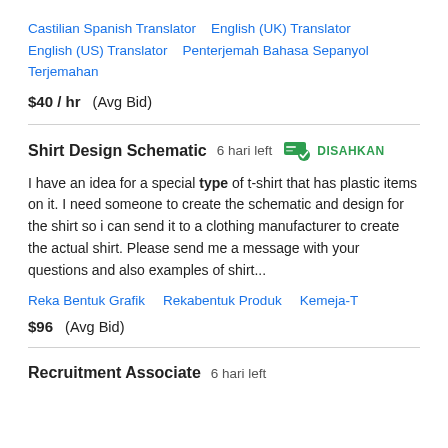Castilian Spanish Translator   English (UK) Translator   English (US) Translator   Penterjemah Bahasa Sepanyol   Terjemahan
$40 / hr  (Avg Bid)
Shirt Design Schematic  6 hari left  DISAHKAN
I have an idea for a special type of t-shirt that has plastic items on it. I need someone to create the schematic and design for the shirt so i can send it to a clothing manufacturer to create the actual shirt. Please send me a message with your questions and also examples of shirt...
Reka Bentuk Grafik   Rekabentuk Produk   Kemeja-T
$96  (Avg Bid)
Recruitment Associate  6 hari left